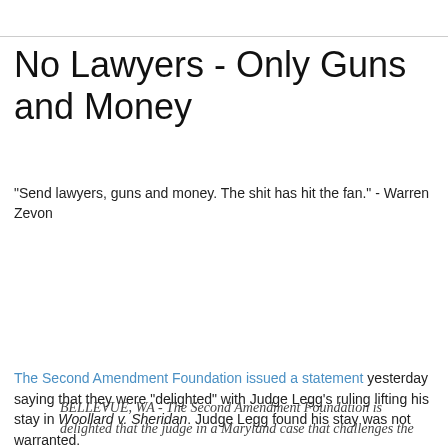No Lawyers - Only Guns and Money
"Send lawyers, guns and money. The shit has hit the fan." - Warren Zevon
Thursday, July 26, 2012
SAF Reacts To Lifting Of Stay In Woollard
The Second Amendment Foundation issued a statement yesterday saying that they were "delighted" with Judge Legg's ruling lifting his stay in Woollard v. Sheridan. Judge Legg found his stay was not warranted.
BELLEVUE, WA - The Second Amendment Foundation is delighted that the judge in a Maryland case that challenges the